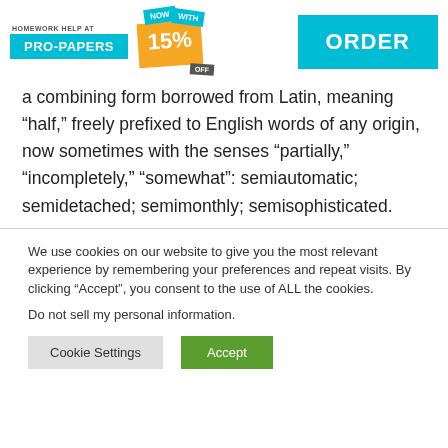[Figure (infographic): Pro-Papers homework help advertisement banner with logo, 15% off discount tags, and ORDER button]
a combining form borrowed from Latin, meaning “half,” freely prefixed to English words of any origin, now sometimes with the senses “partially,” “incompletely,” “somewhat”: semiautomatic; semidetached; semimonthly; semisophisticated.
We use cookies on our website to give you the most relevant experience by remembering your preferences and repeat visits. By clicking “Accept”, you consent to the use of ALL the cookies.
Do not sell my personal information.